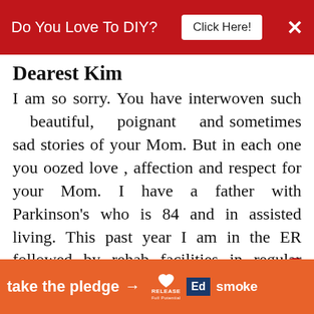Do You Love To DIY?  Click Here!  ×
Dearest Kim
I am so sorry. You have interwoven such beautiful, poignant and sometimes sad stories of your Mom. But in each one you oozed love , affection and respect for your Mom. I have a father with Parkinson's who is 84 and in assisted living. This past year I am in the ER followed by rehab facilities in regular cycles. I are nearing the next step which I have dreaded which is home. I felt like a kindred spirit when you described your visits and
take the pledge → RELEASE ED smoke